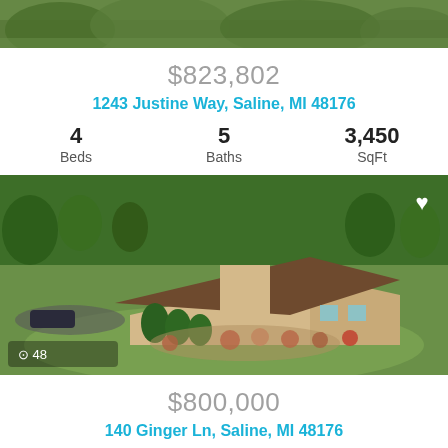[Figure (photo): Aerial/landscape photo at top of page (partially visible, green trees)]
$823,802
1243 Justine Way, Saline, MI 48176
4 Beds   5 Baths   3,450 SqFt
[Figure (photo): Aerial drone photo of a large beige house with brown roof, lush green lawn, colorful landscaping, driveway with car. Camera icon with '48' in lower left. Heart icon in upper right.]
$800,000
140 Ginger Ln, Saline, MI 48176